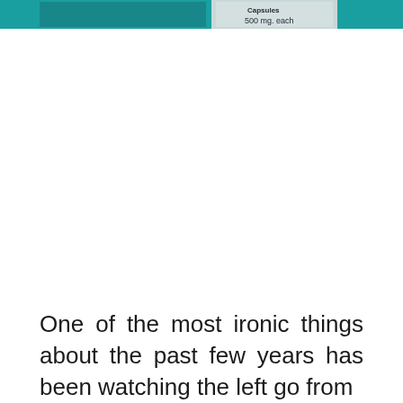[Figure (photo): Partial view of a teal/turquoise medicine bottle or supplement container showing text '500 mg. each' and partial label text above it, cropped at the top of the page.]
One of the most ironic things about the past few years has been watching the left go from